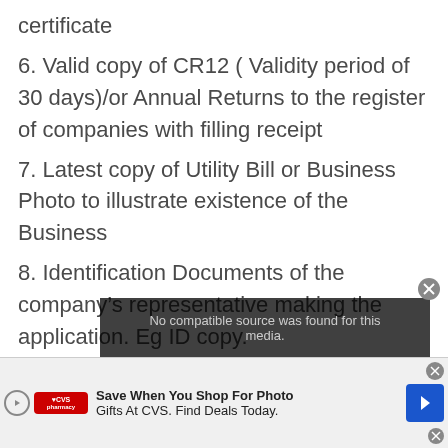certificate
6. Valid copy of CR12 ( Validity period of 30 days)/or Annual Returns to the register of companies with filling receipt
7. Latest copy of Utility Bill or Business Photo to illustrate existence of the Business
8. Identification Documents of the company’s representative making the application. Eg ID copy.
9. Letter from Bank confirming Bank account details or any other document